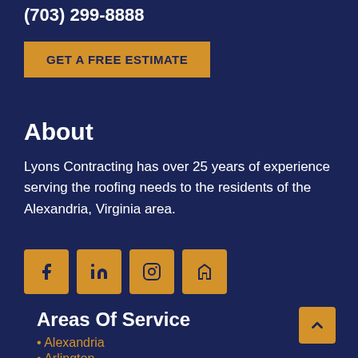(703) 299-8888
GET A FREE ESTIMATE
About
Lyons Contracting has over 25 years of experience serving the roofing needs to the residents of the Alexandria, Virginia area.
[Figure (other): Social media icons: Facebook, LinkedIn, Instagram, Houzz]
Areas Of Service
Alexandria
Arlington